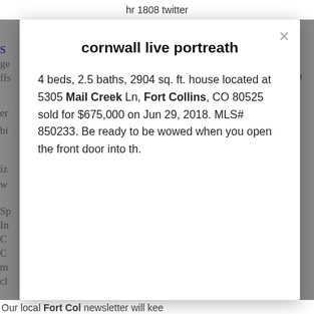hr 1808 twitter
cornwall live portreath
4 beds, 2.5 baths, 2904 sq. ft. house located at 5305 Mail Creek Ln, Fort Collins, CO 80525 sold for $675,000 on Jun 29, 2018. MLS# 850233. Be ready to be wowed when you open the front door into th.
Among
those
Our local Fort Col newsletter will kee